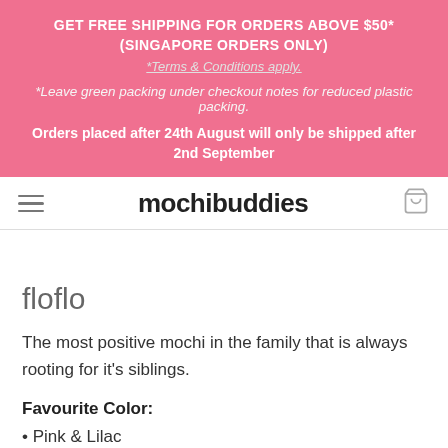GET FREE SHIPPING FOR ORDERS ABOVE $50* (SINGAPORE ORDERS ONLY)
*Terms & Conditions apply.
*Leave green packing under checkout notes for reduced plastic packing.
Orders placed after 24th August will only be shipped after 2nd September
mochibuddies
floflo
The most positive mochi in the family that is always rooting for it's siblings.
Favourite Color:
Pink & Lilac